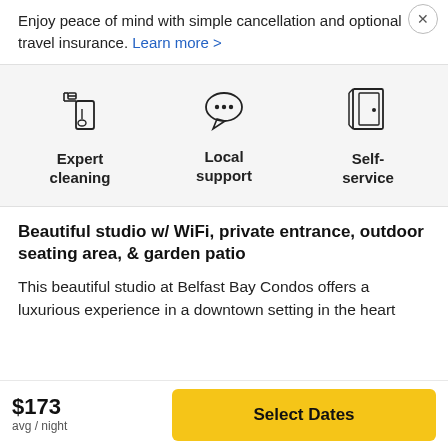Enjoy peace of mind with simple cancellation and optional travel insurance. Learn more >
[Figure (illustration): Three icons: spray bottle (Expert cleaning), speech bubble with dots (Local support), door (Self-service)]
Beautiful studio w/ WiFi, private entrance, outdoor seating area, & garden patio
This beautiful studio at Belfast Bay Condos offers a luxurious experience in a downtown setting in the heart of...
$173 avg / night
Select Dates